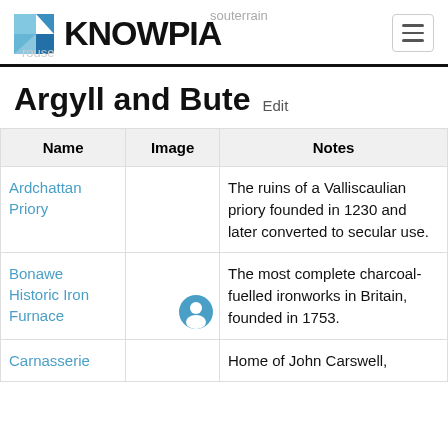KNOWPIA
Argyll and Bute  Edit
| Name | Image | Notes |
| --- | --- | --- |
| Ardchattan Priory |  | The ruins of a Valliscaulian priory founded in 1230 and later converted to secular use. |
| Bonawe Historic Iron Furnace |  | The most complete charcoal-fuelled ironworks in Britain, founded in 1753. |
| Carnasserie |  | Home of John Carswell, |